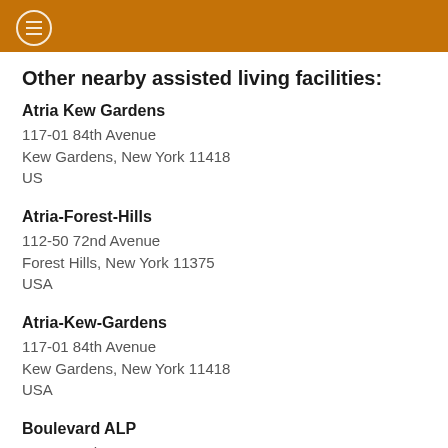Other nearby assisted living facilities:
Atria Kew Gardens
117-01 84th Avenue
Kew Gardens, New York 11418
US
Atria-Forest-Hills
112-50 72nd Avenue
Forest Hills, New York 11375
USA
Atria-Kew-Gardens
117-01 84th Avenue
Kew Gardens, New York 11418
USA
Boulevard ALP
71-61 159th Street
Flushing, New York 11365
USA